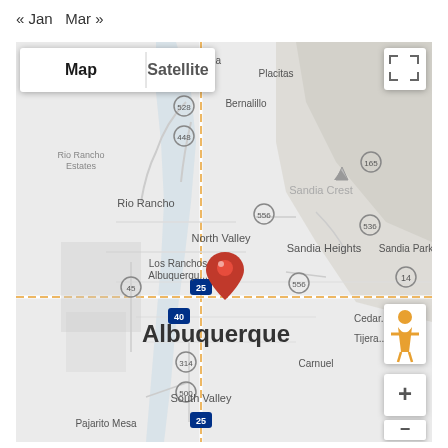« Jan   Mar »
[Figure (map): Google Maps view of Albuquerque, New Mexico area showing surrounding communities including Rio Rancho, Bernalillo, Santa Ana Pueblo, Placitas, Sandia Crest, North Valley, Los Ranchos Albuquerque, Sandia Heights, Sandia Park, Cedar Crest, Tijeras, Carnuel, South Valley, Pajarito Mesa. A red map pin marker is placed over Los Ranchos/North Valley area near highways 25 and 40. Map controls include Map/Satellite toggle, expand button, pegman street view icon, and zoom +/- buttons.]